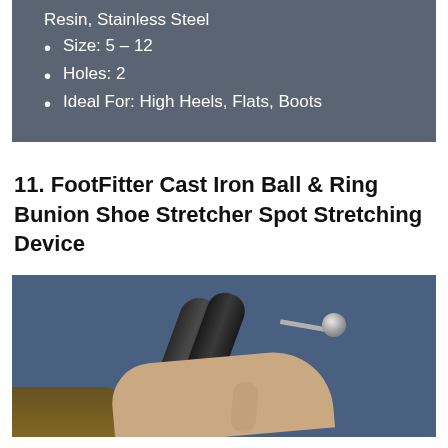Resin, Stainless Steel
Size: 5 – 12
Holes: 2
Ideal For: High Heels, Flats, Boots
11. FootFitter Cast Iron Ball & Ring Bunion Shoe Stretcher Spot Stretching Device
[Figure (photo): Person holding a black shoe stretcher device with a metal ball and ring attachment, shown against jeans background]